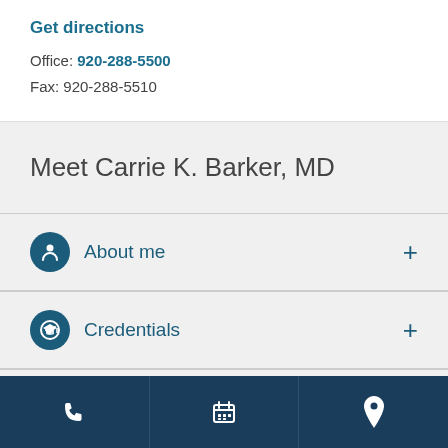Get directions
Office: 920-288-5500
Fax: 920-288-5510
Meet Carrie K. Barker, MD
About me
Credentials
[phone icon] [calendar icon] [location icon]